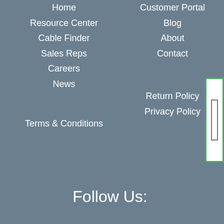Home
Resource Center
Customer Portal
Cable Finder
Blog
Sales Reps
About
Careers
Contact
News
Return Policy
Terms & Conditions
Privacy Policy
Follow Us:
[Figure (other): Social media icon - Connect with us on LinkedIn/Facebook]
[Figure (other): Social media icon - Visit us on Twitter]
[Figure (other): Social media icon - Visit us on Instagram]
[Figure (other): Social media icon - View our YouTube channel]